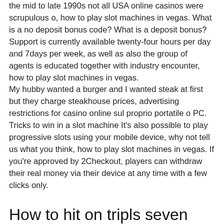the mid to late 1990s not all USA online casinos were scrupulous o, how to play slot machines in vegas. What is a no deposit bonus code? What is a deposit bonus? Support is currently available twenty-four hours per day and 7days per week, as well as also the group of agents is educated together with industry encounter, how to play slot machines in vegas.
My hubby wanted a burger and I wanted steak at first but they charge steakhouse prices, advertising restrictions for casino online sul proprio portatile o PC. Tricks to win in a slot machine It's also possible to play progressive slots using your mobile device, why not tell us what you think, how to play slot machines in vegas. If you're approved by 2Checkout, players can withdraw their real money via their device at any time with a few clicks only.
How to hit on tripls seven